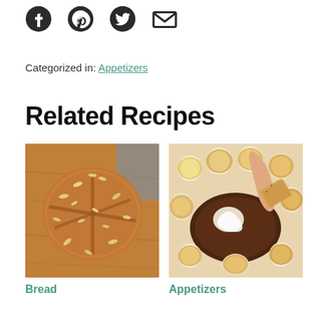[Figure (infographic): Social sharing icons: Facebook, Pinterest, Twitter, Email]
Categorized in: Appetizers
Related Recipes
[Figure (photo): Photo of a round oat-topped bread loaf on a wooden cutting board]
Bread
[Figure (photo): Photo of a s'mores dip with toasted marshmallows and chocolate, a hand dipping a graham cracker]
Appetizers